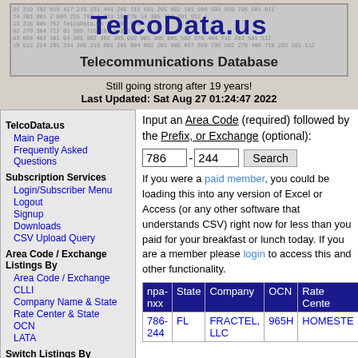[Figure (logo): TelcoData.us logo banner with number background, blue bold title 'TelcoData.us' and subtitle 'Telecommunications Database']
Still going strong after 19 years!
Last Updated: Sat Aug 27 01:24:47 2022
TelcoData.us
Main Page
Frequently Asked Questions
Subscription Services
Login/Subscriber Menu
Logout
Signup
Downloads
CSV Upload Query
Area Code / Exchange Listings By
Area Code / Exchange
CLLI
Company Name & State
Rate Center & State
OCN
LATA
Switch Listings By
Input an Area Code (required) followed by the Prefix, or Exchange (optional):
If you were a paid member, you could be loading this into any version of Excel or Access (or any other software that understands CSV) right now for less than you paid for your breakfast or lunch today. If you are a member please login to access this and other functionality.
| npa-nxx | State | Company | OCN | Rate Center |
| --- | --- | --- | --- | --- |
| 786-244 | FL | FRACTEL, LLC | 965H | HOMESTEAD |